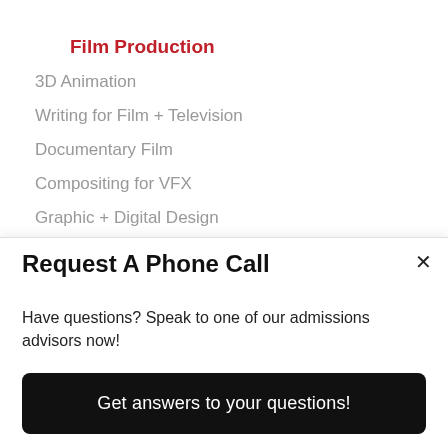Film Production
3D Animation
Writing for Film + Television
Documentary Film
Compositing for VFX
Graphic + Digital Design
COMPANY
About Us
Request A Phone Call
Have questions? Speak to one of our admissions advisors now!
Get answers to your questions!